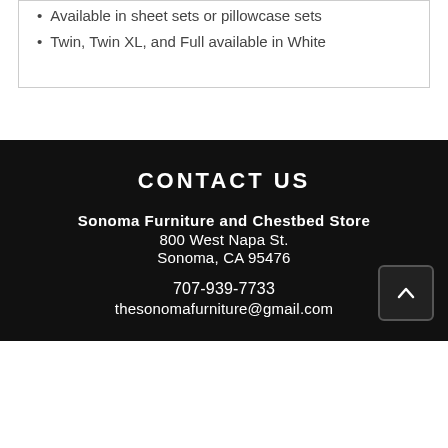Available in sheet sets or pillowcase sets
Twin, Twin XL, and Full available in White
CONTACT US
Sonoma Furniture and Chestbed Store
800 West Napa St.
Sonoma, CA 95476
707-939-7733
thesonomafurniture@gmail.com